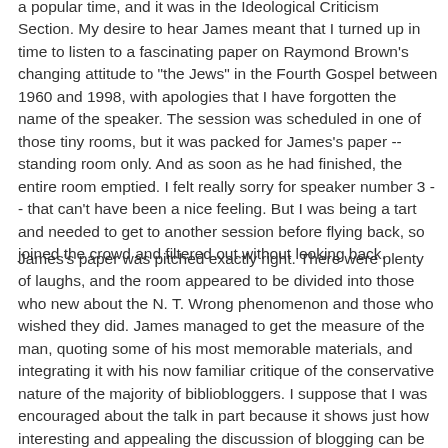a popular time, and it was in the Ideological Criticism Section. My desire to hear James meant that I turned up in time to listen to a fascinating paper on Raymond Brown's changing attitude to "the Jews" in the Fourth Gospel between 1960 and 1998, with apologies that I have forgotten the name of the speaker. The session was scheduled in one of those tiny rooms, but it was packed for James's paper -- standing room only. And as soon as he had finished, the entire room emptied. I felt really sorry for speaker number 3 -- that can't have been a nice feeling. But I was being a tart and needed to get to another session before flying back, so joined the crowd and filtered out without looking back.
James's paper was pitched exactly right. There were plenty of laughs, and the room appeared to be divided into those who new about the N. T. Wrong phenomenon and those who wished they did. James managed to get the measure of the man, quoting some of his most memorable materials, and integrating it with his now familiar critique of the conservative nature of the majority of bibliobloggers. I suppose that I was encouraged about the talk in part because it shows just how interesting and appealing the discussion of blogging can be